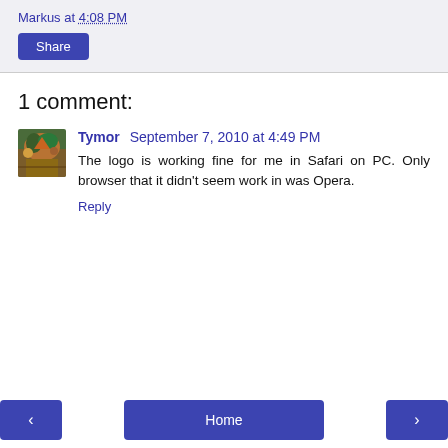Markus at 4:08 PM
Share
1 comment:
Tymor  September 7, 2010 at 4:49 PM
The logo is working fine for me in Safari on PC. Only browser that it didn't seem work in was Opera.
Reply
Home